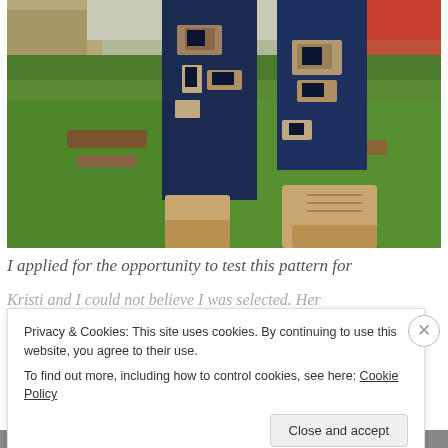[Figure (photo): Photo of a person's lower body wearing ripped blue jeans and tan/camel wedge ankle boots, standing on green grass outdoors with dry brush/trees in background.]
I applied for the opportunity to test this pattern for
Kristi and I could not believe I was selected. Her
Privacy & Cookies: This site uses cookies. By continuing to use this website, you agree to their use.
To find out more, including how to control cookies, see here: Cookie Policy
Close and accept